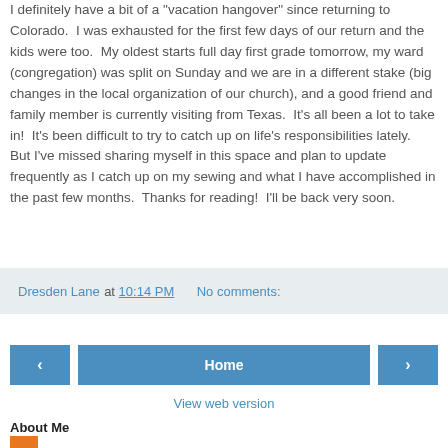I definitely have a bit of a "vacation hangover" since returning to Colorado.  I was exhausted for the first few days of our return and the kids were too.  My oldest starts full day first grade tomorrow, my ward (congregation) was split on Sunday and we are in a different stake (big changes in the local organization of our church), and a good friend and family member is currently visiting from Texas.  It's all been a lot to take in!  It's been difficult to try to catch up on life's responsibilities lately.  But I've missed sharing myself in this space and plan to update frequently as I catch up on my sewing and what I have accomplished in the past few months.  Thanks for reading!  I'll be back very soon.
Dresden Lane at 10:14 PM   No comments:
‹  Home  ›
View web version
About Me